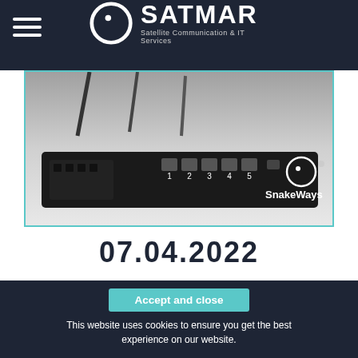SATMAR — Satellite Communication & IT Services
[Figure (photo): Black and white photo of a SnakeWays router/networking device showing ethernet ports numbered 1-5, a USB port, and the SnakeWays logo, with antennas visible in the background.]
07.04.2022
SATMAR adds SnakeWays to their growing portfolio of world class service offerings. Gdynia and Munich, 04 April 2022. SATMAR Satellite Communication & IT Services Company and maritime communications solutions provider SnakeWays GmbH have announced a partnership that combines the cloud based SnakeWays solutions with the quality ship-to-shore connectivity services to ensure on/offshore faster
Accept and close
This website uses cookies to ensure you get the best experience on our website.